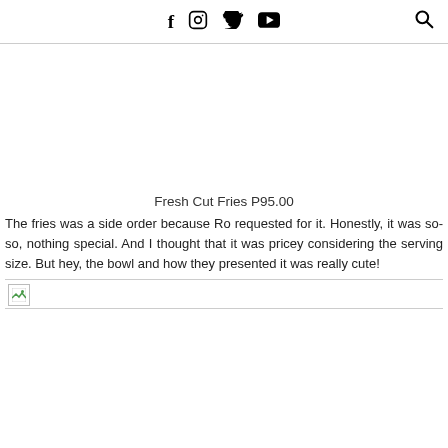Social media icons: Facebook, Instagram, YouTube, Twitter, Search
Fresh Cut Fries P95.00
The fries was a side order because Ro requested for it. Honestly, it was so-so, nothing special. And I thought that it was pricey considering the serving size. But hey, the bowl and how they presented it was really cute!
[Figure (photo): Broken/missing image placeholder for a photo of Fresh Cut Fries]